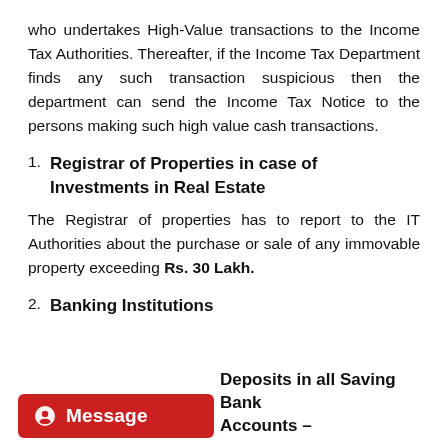who undertakes High-Value transactions to the Income Tax Authorities. Thereafter, if the Income Tax Department finds any such transaction suspicious then the department can send the Income Tax Notice to the persons making such high value cash transactions.
1. Registrar of Properties in case of Investments in Real Estate
The Registrar of properties has to report to the IT Authorities about the purchase or sale of any immovable property exceeding Rs. 30 Lakh.
2. Banking Institutions
Deposits in all Saving Bank Accounts –